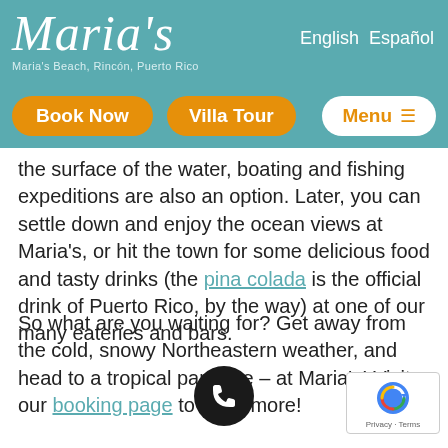Maria's — Maria's Beach, Rincón, Puerto Rico | English Español
the surface of the water, boating and fishing expeditions are also an option. Later, you can settle down and enjoy the ocean views at Maria's, or hit the town for some delicious food and tasty drinks (the pina colada is the official drink of Puerto Rico, by the way) at one of our many eateries and bars.
So what are you waiting for? Get away from the cold, snowy Northeastern weather, and head to a tropical paradise – at Maria's! Visit our booking page to learn more!
[Figure (other): Phone call button (dark circle with phone handset icon)]
[Figure (other): reCAPTCHA badge with Google logo and Privacy · Terms text]